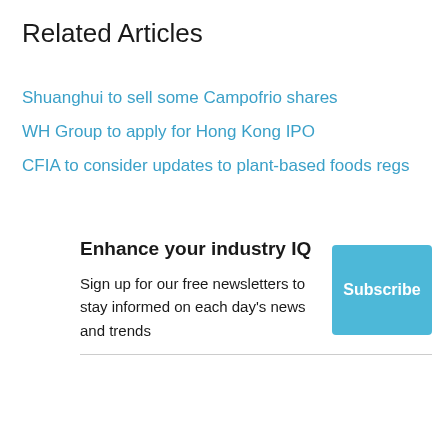Related Articles
Shuanghui to sell some Campofrio shares
WH Group to apply for Hong Kong IPO
CFIA to consider updates to plant-based foods regs
Enhance your industry IQ
Sign up for our free newsletters to stay informed on each day's news and trends
Subscribe